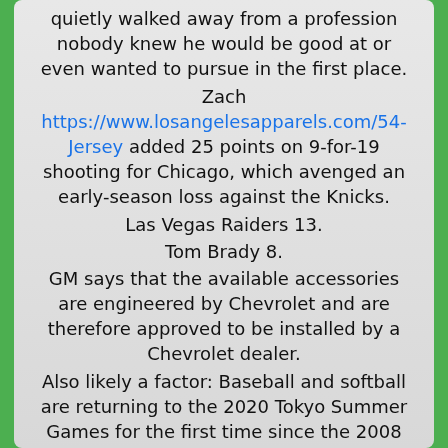quietly walked away from a profession nobody knew he would be good at or even wanted to pursue in the first place.
Zach https://www.losangelesapparels.com/54-Jersey added 25 points on 9-for-19 shooting for Chicago, which avenged an early-season loss against the Knicks.
Las Vegas Raiders 13.
Tom Brady 8.
GM says that the available accessories are engineered by Chevrolet and are therefore approved to be installed by a Chevrolet dealer.
Also likely a factor: Baseball and softball are returning to the 2020 Tokyo Summer Games for the first time since the 2008 Games in Beijing.
Maria Sharapova 10.
Miss: The Bruins are 0 in games decided after regulation, including one in overtime and three in the shootout.
Matt Duchene News.
In 2015, the Giants finished second in the Dallas Morning News' annual comprehensive ranking of the league's special teams.
Indianapolis Colts 14.
This is no poser; the powertrain features a COBB tune, Greddy intake and exhaust as well as an aluminum intercooler with piping